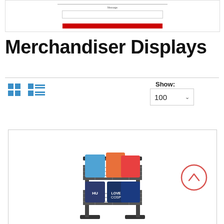[Figure (screenshot): Screenshot of a website banner/form area with input field and red submit button]
Merchandiser Displays
[Figure (screenshot): View toggle icons (grid view and list view) and Show 100 dropdown selector]
[Figure (photo): Product card showing a two-tier wire basket merchandiser display rack holding pet food bags, with an up-arrow navigation button on the right]